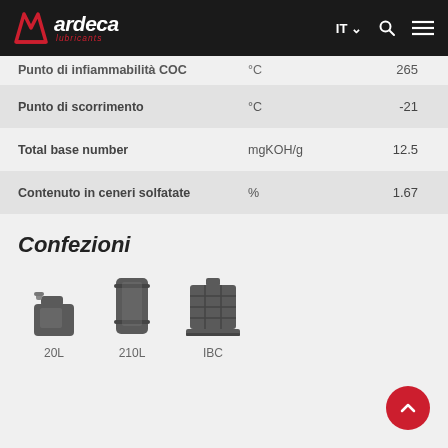ardeca lubricants — IT navigation header
| Proprietà | Unità | Valore |
| --- | --- | --- |
| Punto di infiammabilità COC | °C | 265 |
| Punto di scorrimento | °C | -21 |
| Total base number | mgKOH/g | 12.5 |
| Contenuto in ceneri solfatate | % | 1.67 |
Confezioni
[Figure (infographic): Three packaging icons: 20L container (square jerry can), 210L drum, IBC (intermediate bulk container). Each shown as a gray icon with label below.]